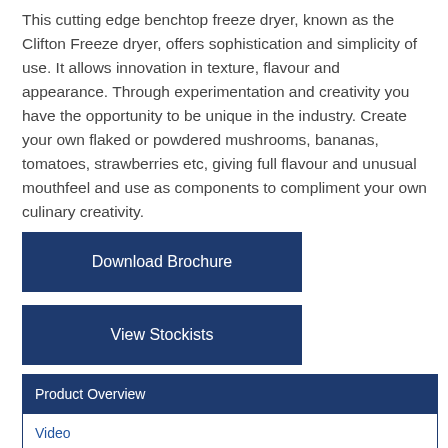This cutting edge benchtop freeze dryer, known as the Clifton Freeze dryer, offers sophistication and simplicity of use. It allows innovation in texture, flavour and appearance. Through experimentation and creativity you have the opportunity to be unique in the industry. Create your own flaked or powdered mushrooms, bananas, tomatoes, strawberries etc, giving full flavour and unusual mouthfeel and use as components to compliment your own culinary creativity.
Download Brochure
View Stockists
| Product Overview |
| --- |
| Video |
|  |